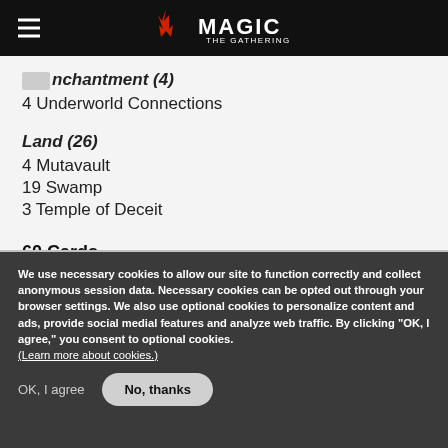Magic: The Gathering
Enchantment (4)
4 Underworld Connections
Land (26)
4 Mutavault
19 Swamp
3 Temple of Deceit
60 Cards
We use necessary cookies to allow our site to function correctly and collect anonymous session data. Necessary cookies can be opted out through your browser settings. We also use optional cookies to personalize content and ads, provide social medial features and analyze web traffic. By clicking “OK, I agree,” you consent to optional cookies. (Learn more about cookies.)
OK, I agree
No, thanks